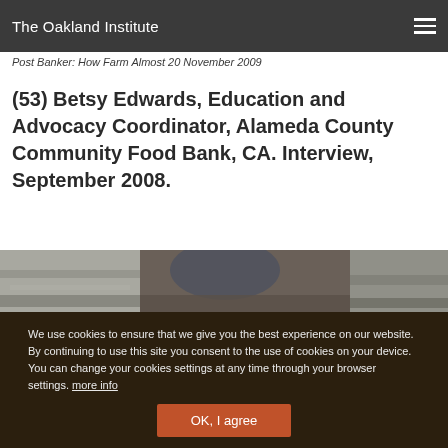The Oakland Institute
Post Banker: How Farm Almost 20 November 2009
(53) Betsy Edwards, Education and Advocacy Coordinator, Alameda County Community Food Bank, CA. Interview, September 2008.
[Figure (photo): Partial photograph showing ground/earth textures, partially visible at the bottom of the content area]
We use cookies to ensure that we give you the best experience on our website. By continuing to use this site you consent to the use of cookies on your device. You can change your cookies settings at any time through your browser settings. more info
OK, I agree